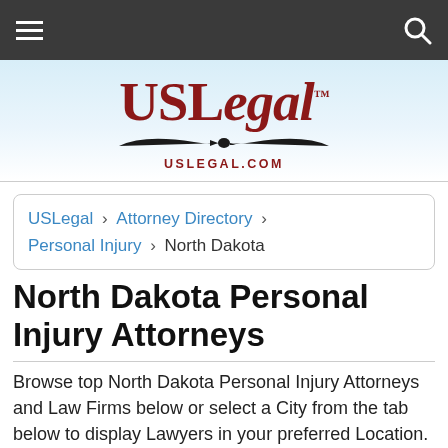USLegal navigation bar with hamburger menu and search icon
[Figure (logo): USLegal logo with eagle/bird graphic and USLEGAL.COM text]
USLegal > Attorney Directory > Personal Injury > North Dakota
North Dakota Personal Injury Attorneys
Browse top North Dakota Personal Injury Attorneys and Law Firms below or select a City from the tab below to display Lawyers in your preferred Location.
Browse by   Cities